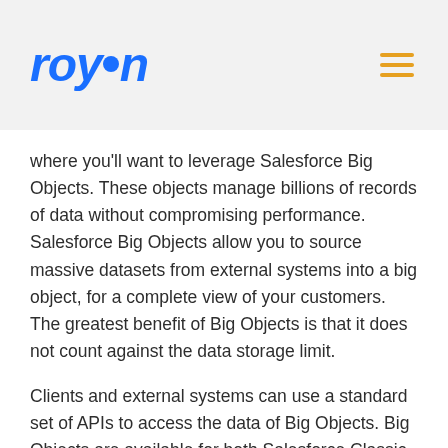roycon
where you’ll want to leverage Salesforce Big Objects. These objects manage billions of records of data without compromising performance. Salesforce Big Objects allow you to source massive datasets from external systems into a big object, for a complete view of your customers. The greatest benefit of Big Objects is that it does not count against the data storage limit.
Clients and external systems can use a standard set of APIs to access the data of Big Objects. Big Objects are available for both Salesforce Classic and Lightning Experience.
Types of Salesforce Big